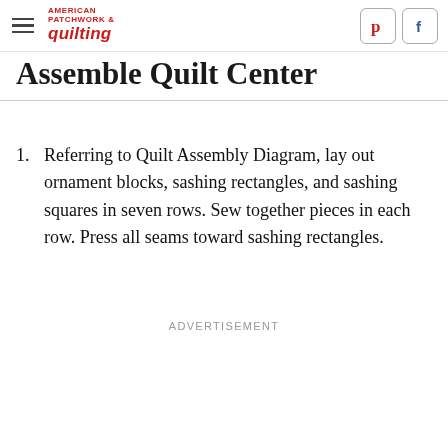American Patchwork & Quilting
Assemble Quilt Center
1. Referring to Quilt Assembly Diagram, lay out ornament blocks, sashing rectangles, and sashing squares in seven rows. Sew together pieces in each row. Press all seams toward sashing rectangles.
ADVERTISEMENT